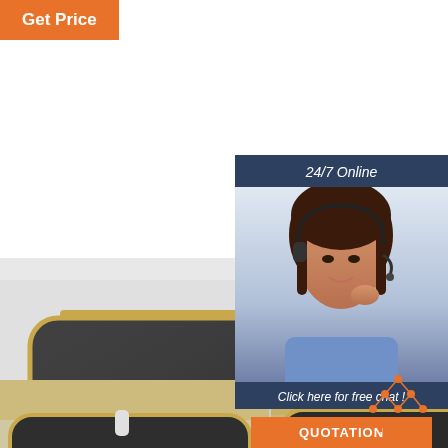Get Price
THE DETAILS SHOW
[Figure (photo): Close-up photo of aviator sunglasses with gold metal frame and dark grey lenses, shown from front and detail angles]
[Figure (photo): Customer service representative (woman with headset) with 24/7 Online label, chat and quotation sidebar panel]
PERSON BEAM
Cool and
[Figure (logo): TOP logo with orange triangle/dots icon above the word TOP in orange]